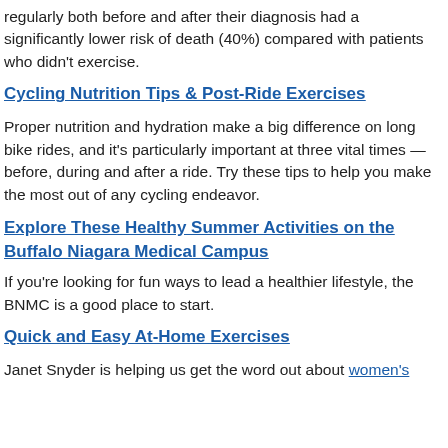regularly both before and after their diagnosis had a significantly lower risk of death (40%) compared with patients who didn't exercise.
Cycling Nutrition Tips & Post-Ride Exercises
Proper nutrition and hydration make a big difference on long bike rides, and it's particularly important at three vital times — before, during and after a ride. Try these tips to help you make the most out of any cycling endeavor.
Explore These Healthy Summer Activities on the Buffalo Niagara Medical Campus
If you're looking for fun ways to lead a healthier lifestyle, the BNMC is a good place to start.
Quick and Easy At-Home Exercises
Janet Snyder is helping us get the word out about women's